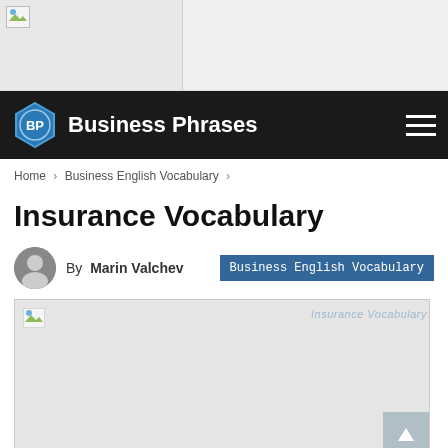[Figure (other): Top banner area with broken image placeholder on left side, light gray background]
BP Business Phrases
Home > Business English Vocabulary >
Insurance Vocabulary
By Marin Valchev   Business English Vocabulary
[Figure (photo): Article featured image placeholder (broken image) with watermark text 'Insurance Vocabulary' in top right]